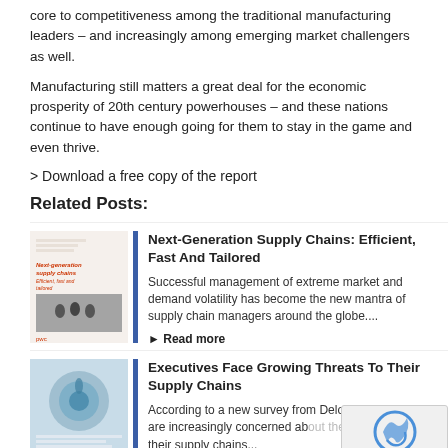core to competitiveness among the traditional manufacturing leaders – and increasingly among emerging market challengers as well.
Manufacturing still matters a great deal for the economic prosperity of 20th century powerhouses – and these nations continue to have enough going for them to stay in the game and even thrive.
> Download a free copy of the report
Related Posts:
[Figure (photo): Book cover thumbnail for 'Next-Generation Supply Chains: Efficient, Fast and Tailored' with PwC logo]
Next-Generation Supply Chains: Efficient, Fast And Tailored
Successful management of extreme market and demand volatility has become the new mantra of supply chain managers around the globe....
▶ Read more
[Figure (photo): Book cover thumbnail for 'Executives Face Growing Threats To Their Supply Chains' report]
Executives Face Growing Threats To Their Supply Chains
According to a new survey from Deloitte, executives are increasingly concerned about the growing risks to their supply chains...